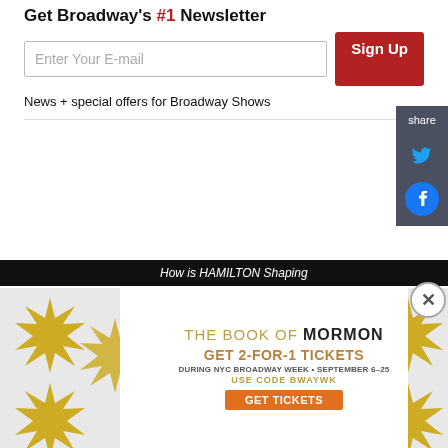Get Broadway's #1 Newsletter
Enter Your E-mail
Sign Up
News + special offers for Broadway Shows
share
How is HAMILTON Shaping
[Figure (infographic): The Book of Mormon advertisement: GET 2-FOR-1 TICKETS DURING NYC BROADWAY WEEK • SEPTEMBER 6-25 USE CODE BWAYWK GET TICKETS]
THE BOOK OF MORMON
GET 2-FOR-1 TICKETS
DURING NYC BROADWAY WEEK • SEPTEMBER 6–25
USE CODE BWAYWK
GET TICKETS